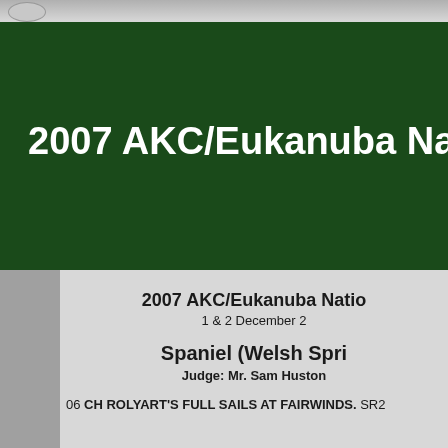2007 AKC/Eukanuba Nat
2007 AKC/Eukanuba Natio
1 & 2 December 2
Spaniel (Welsh Spri
Judge: Mr. Sam Huston
06 CH ROLYART'S FULL SAILS AT FAIRWINDS. SR2